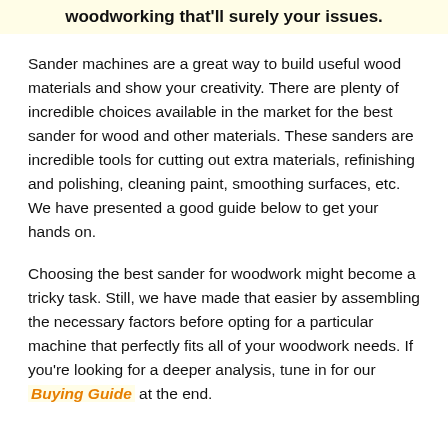woodworking that'll surely your issues.
Sander machines are a great way to build useful wood materials and show your creativity. There are plenty of incredible choices available in the market for the best sander for wood and other materials. These sanders are incredible tools for cutting out extra materials, refinishing and polishing, cleaning paint, smoothing surfaces, etc. We have presented a good guide below to get your hands on.
Choosing the best sander for woodwork might become a tricky task. Still, we have made that easier by assembling the necessary factors before opting for a particular machine that perfectly fits all of your woodwork needs. If you're looking for a deeper analysis, tune in for our Buying Guide at the end.